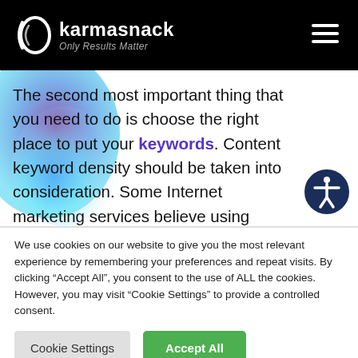[Figure (logo): Karmasnack logo with white crescent/circle icon, bold white text 'karmasnack', italic gray tagline 'Only Results Matter' on black background. Hamburger menu icon at top right.]
The second most important thing that you need to do is choose the right place to put your keywords. Content keyword density should be taken into consideration. Some Internet marketing services believe using major
We use cookies on our website to give you the most relevant experience by remembering your preferences and repeat visits. By clicking “Accept All”, you consent to the use of ALL the cookies. However, you may visit “Cookie Settings” to provide a controlled consent.
Cookie Settings | Accept All